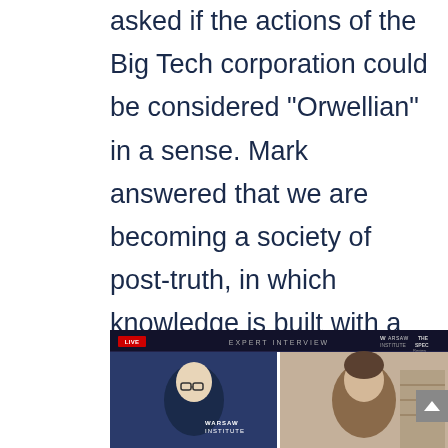asked if the actions of the Big Tech corporation could be considered “Orwellian” in a sense. Mark answered that we are becoming a society of post-truth, in which knowledge is built with a very broad censorship dependent on the line propagated by the world’s largest corporations.
[Figure (screenshot): Screenshot of a video interview labeled 'Expert Interview' with a Warsaw Institute logo and The SPEC Review branding. Shows two people on a split-screen video call, one on a blue background with a Warsaw Institute overlay, one on a beige background.]